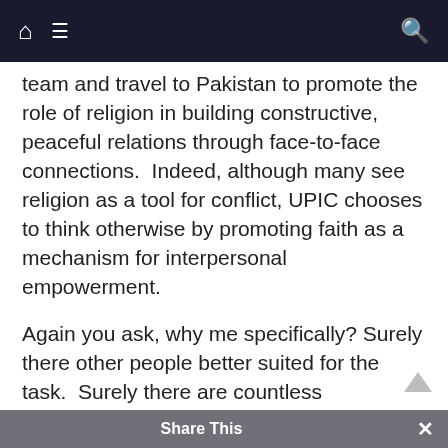[navigation bar with home, menu, and search icons]
team and travel to Pakistan to promote the role of religion in building constructive, peaceful relations through face-to-face connections.  Indeed, although many see religion as a tool for conflict, UPIC chooses to think otherwise by promoting faith as a mechanism for interpersonal empowerment.
Again you ask, why me specifically? Surely there other people better suited for the task.  Surely there are countless reverends, rabbis, and imams who can work these things out amongst themselves. I acknowledge and answer yes to all such questions.  However, that such questions arise is exactly the reason for my enthusiasm.  Sometimes it takes the perspective of someone wholly removed from the paradigm to alter the
Share This ×